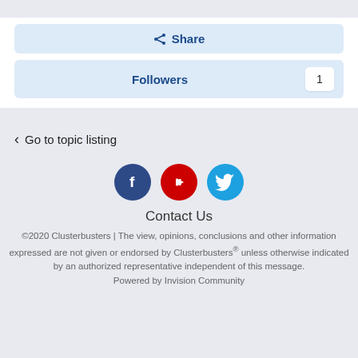Share
Followers 1
Go to topic listing
[Figure (illustration): Social media icons: Facebook (dark blue circle with f), YouTube (red circle with play button), Twitter (light blue circle with bird)]
Contact Us
©2020 Clusterbusters | The view, opinions, conclusions and other information expressed are not given or endorsed by Clusterbusters® unless otherwise indicated by an authorized representative independent of this message. Powered by Invision Community